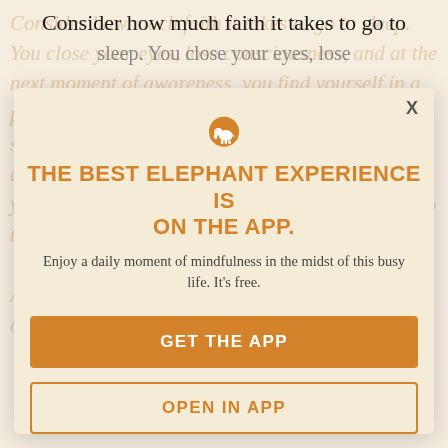Consider how much faith it takes to go to sleep. You close your eyes, lose consciousness, and at the next moment of awareness, you find yourself in a perpetually morphing space where oversized spiders are perhaps trapped in your bathtub while all but your sister's face must simply accompany you somewhere. This transition is seriously akin to the death experience. Read more...
[Figure (illustration): Modal popup overlay with elephant app logo. Shows a gold circle with white elephant silhouette icon, bold orange heading 'THE BEST ELEPHANT EXPERIENCE IS ON THE APP.', descriptive text, and two buttons: 'GET THE APP' (filled orange) and 'OPEN IN APP' (outlined orange). An X close button is at the top right.]
THE BEST ELEPHANT EXPERIENCE IS ON THE APP.
Enjoy a daily moment of mindfulness in the midst of this busy life. It's free.
GET THE APP
OPEN IN APP